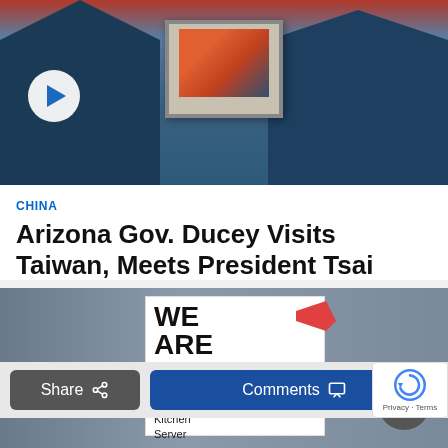[Figure (photo): Two people in blue suits holding a framed picture, with a play button overlay in the lower left]
CHINA
Arizona Gov. Ducey Visits Taiwan, Meets President Tsai
[Figure (photo): A 'We Are Hiring! Position Available: Kitchen Server' sign in a window with a person's reflection behind it; a TOP back-to-top button visible in lower right]
Share
Comments
Privacy · Terms